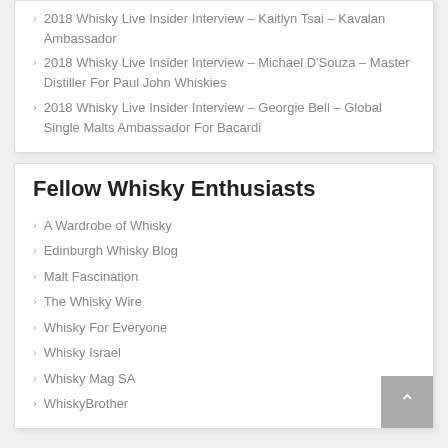2018 Whisky Live Insider Interview – Kaitlyn Tsai – Kavalan Ambassador
2018 Whisky Live Insider Interview – Michael D'Souza – Master Distiller For Paul John Whiskies
2018 Whisky Live Insider Interview – Georgie Bell – Global Single Malts Ambassador For Bacardi
Fellow Whisky Enthusiasts
A Wardrobe of Whisky
Edinburgh Whisky Blog
Malt Fascination
The Whisky Wire
Whisky For Everyone
Whisky Israel
Whisky Mag SA
WhiskyBrother